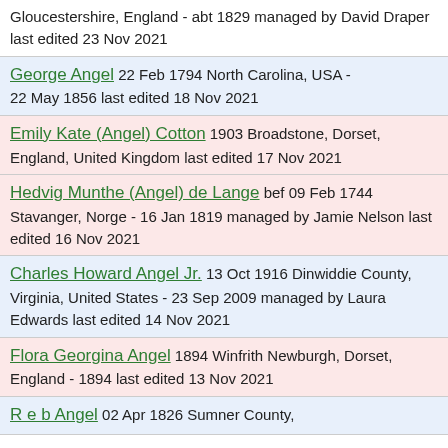Gloucestershire, England - abt 1829 managed by David Draper last edited 23 Nov 2021
George Angel 22 Feb 1794 North Carolina, USA - 22 May 1856 last edited 18 Nov 2021
Emily Kate (Angel) Cotton 1903 Broadstone, Dorset, England, United Kingdom last edited 17 Nov 2021
Hedvig Munthe (Angel) de Lange bef 09 Feb 1744 Stavanger, Norge - 16 Jan 1819 managed by Jamie Nelson last edited 16 Nov 2021
Charles Howard Angel Jr. 13 Oct 1916 Dinwiddie County, Virginia, United States - 23 Sep 2009 managed by Laura Edwards last edited 14 Nov 2021
Flora Georgina Angel 1894 Winfrith Newburgh, Dorset, England - 1894 last edited 13 Nov 2021
R e b Angel 02 Apr 1826 Sumner County,